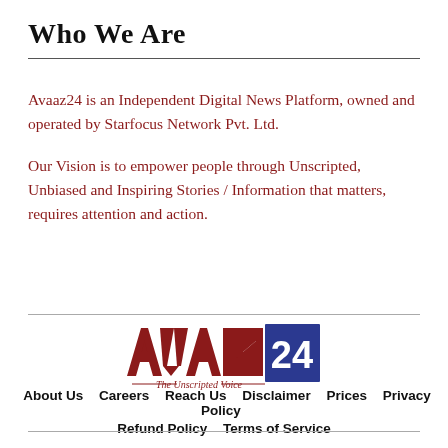Who We Are
Avaaz24 is an Independent Digital News Platform, owned and operated by Starfocus Network Pvt. Ltd.
Our Vision is to empower people through Unscripted, Unbiased and Inspiring Stories / Information that matters, requires attention and action.
[Figure (logo): Avaaz24 logo with dark red AVAAZ text and blue square with white 24, tagline: The Unscripted Voice]
About Us   Careers   Reach Us   Disclaimer   Prices   Privacy Policy   Refund Policy   Terms of Service